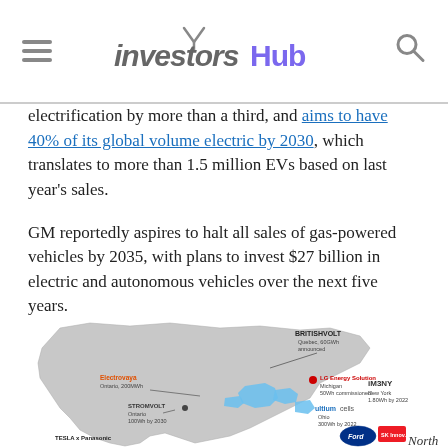investorshub
electrification by more than a third, and aims to have 40% of its global volume electric by 2030, which translates to more than 1.5 million EVs based on last year's sales.
GM reportedly aspires to halt all sales of gas-powered vehicles by 2035, with plans to invest $27 billion in electric and autonomous vehicles over the next five years.
In October Toyota said it will invest about $3.4 billion on American battery development and production through 2030.
[Figure (map): Map of North America showing battery gigafactory locations including Britishvolt (Quebec, 60GWh announced), LG Energy Solution (Michigan, 50Wh commissioned), Ultium Cells (Ohio, 300Wh by 2022), iM3NY (New York, 1.80Wh by 2022), Stromvolt (Ontario, 100Wh by 2030), Electrovaya (Ontario, 200MWh), Tesla x Panasonic, Ford, SK Innovation]